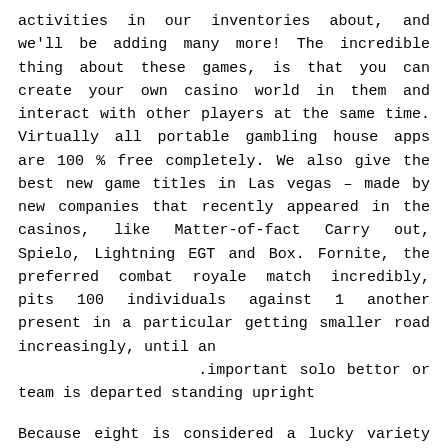activities in our inventories about, and we'll be adding many more! The incredible thing about these games, is that you can create your own casino world in them and interact with other players at the same time. Virtually all portable gambling house apps are 100 % free completely. We also give the best new game titles in Las vegas – made by new companies that recently appeared in the casinos, like Matter-of-fact Carry out, Spielo, Lightning EGT and Box. Fornite, the preferred combat royale match incredibly, pits 100 individuals against 1 another present in a particular getting smaller road increasingly, until an important solo bettor or team is departed standing upright.
Because eight is considered a lucky variety in Far east customs, debris denominated 8, 88, and 888 (e.g., $8 in the US) happen to be widespread in casinos giving to a Offshore patrons, typically as a advertising and marketing for the Offshore Lunar New Season. They came up with a way where punters can play their favourite online video games on the go. Ã. This will be what ultimately brought to the design of Great britain, North america on-line mobile phone internet casino internet sites, and since ever, telephone betting provides merely happen to be having much better over period thanks a lot to the help of